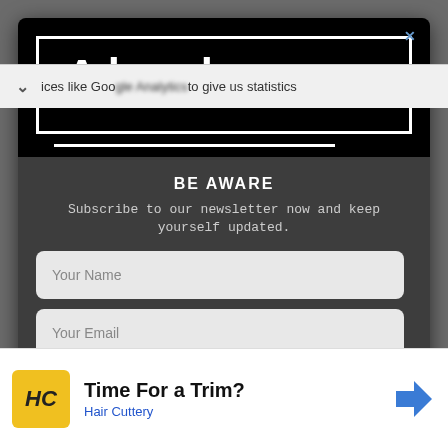[Figure (logo): Alveloz logo — large white text on black background with white border rectangle]
BE AWARE
Subscribe to our newsletter now and keep yourself updated.
Your Name
Your Email
Subscribe
ices like Google Analytics to give us statistics
Time For a Trim?
Hair Cuttery